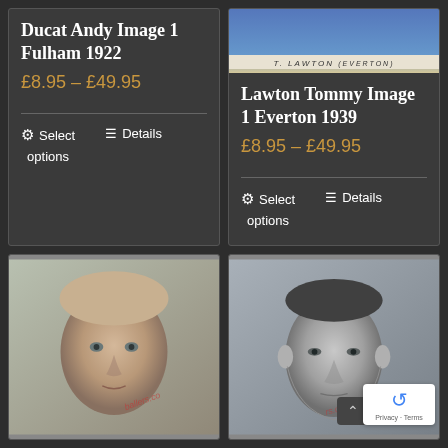Ducat Andy Image 1 Fulham 1922
£8.95 – £49.95
Select options
Details
[Figure (photo): Top portion of T. Lawton (Everton) football card with blue background and name label at bottom]
Lawton Tommy Image 1 Everton 1939
£8.95 – £49.95
Select options
Details
[Figure (photo): Close-up portrait photo of a young fair-haired footballer, vintage/sepia tone, with watermark text]
[Figure (photo): Close-up portrait photo of a darker-haired footballer, vintage black and white tone, with reCAPTCHA badge overlay]